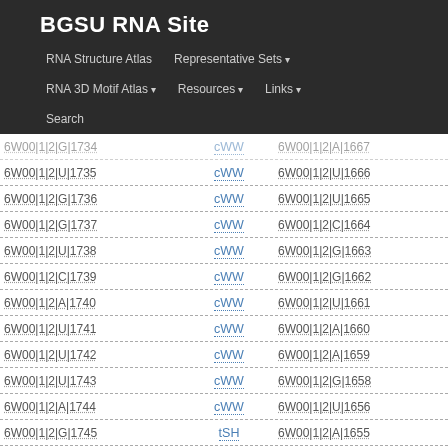BGSU RNA Site
RNA Structure Atlas | Representative Sets | RNA 3D Motif Atlas | Resources | Links | Search
| Nucleotide 1 | Pair Type | Nucleotide 2 |
| --- | --- | --- |
| 6W00|1|2|G|1734 | cWW | 6W00|1|2|A|1667 |
| 6W00|1|2|U|1735 | cWW | 6W00|1|2|U|1666 |
| 6W00|1|2|G|1736 | cWW | 6W00|1|2|U|1665 |
| 6W00|1|2|G|1737 | cWW | 6W00|1|2|C|1664 |
| 6W00|1|2|U|1738 | cWW | 6W00|1|2|G|1663 |
| 6W00|1|2|C|1739 | cWW | 6W00|1|2|G|1662 |
| 6W00|1|2|A|1740 | cWW | 6W00|1|2|U|1661 |
| 6W00|1|2|U|1741 | cWW | 6W00|1|2|A|1660 |
| 6W00|1|2|U|1742 | cWW | 6W00|1|2|A|1659 |
| 6W00|1|2|U|1743 | cWW | 6W00|1|2|G|1658 |
| 6W00|1|2|A|1744 | cWW | 6W00|1|2|U|1656 |
| 6W00|1|2|G|1745 | tSH | 6W00|1|2|A|1655 |
| 6W00|1|2|A|1746 | tSS | 6W00|1|5|G|2302 |
| 6W00|1|2|A|1746 | cSS | 6W00|1|5|C|2290 |
| 6W00|1|2|A|1746 | tHS | 6W00|1|2|G|1654 |
| 6W00|1|2|G|1747 | cWW | 6W00|1|2|C|1653 |
| 6W00|1|2|G|1748 | cWW | 6W00|1|2|C|1652 |